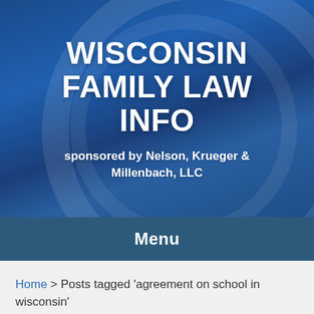[Figure (illustration): Blue banner header with circular design elements, containing site title and sponsor text]
WISCONSIN FAMILY LAW INFO
sponsored by Nelson, Krueger & Millenbach, LLC
Menu
Home > Posts tagged 'agreement on school in wisconsin'
AGREEMENT ON SCHOOL IN WISCONSIN